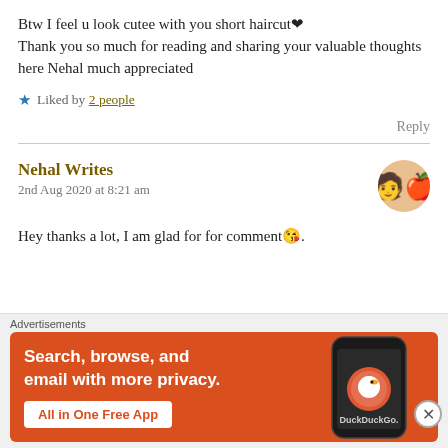Btw I feel u look cutee with you short haircut❤ Thank you so much for reading and sharing your valuable thoughts here Nehal much appreciated
★ Liked by 2 people
Reply
Nehal Writes
2nd Aug 2020 at 8:21 am
Hey thanks a lot, I am glad for for comment😘.
[Figure (screenshot): DuckDuckGo advertisement banner with orange/red background. Text reads: 'Search, browse, and email with more privacy. All in One Free App'. Shows a smartphone on the right with DuckDuckGo logo.]